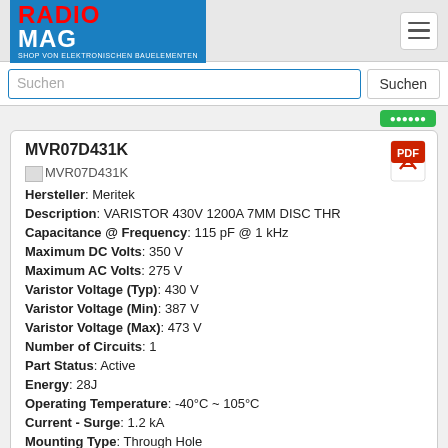RADIOMAG - SHOP VON ELEKTRONISCHEN BAUELEMENTEN
Suchen
MVR07D431K
Hersteller: Meritek
Description: VARISTOR 430V 1200A 7MM DISC THR
Capacitance @ Frequency: 115 pF @ 1 kHz
Maximum DC Volts: 350 V
Maximum AC Volts: 275 V
Varistor Voltage (Typ): 430 V
Varistor Voltage (Min): 387 V
Varistor Voltage (Max): 473 V
Number of Circuits: 1
Part Status: Active
Energy: 28J
Operating Temperature: -40°C ~ 105°C
Current - Surge: 1.2 kA
Mounting Type: Through Hole
Package / Case: Disc 7mm
Packaging: Bulk
auf Bestellung 5000 Stücke
Lieferzeit 21-28 Tag (e)